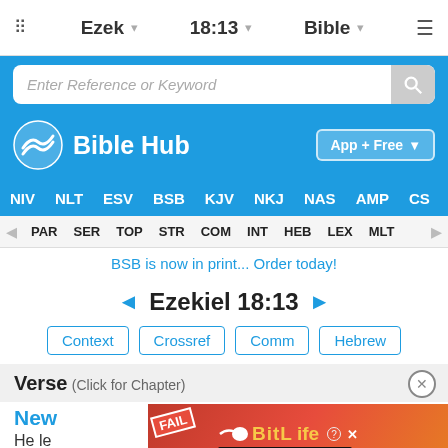Ezek  18:13  Bible
[Figure (screenshot): Search bar with placeholder text 'Enter Reference or Keyword' and magnifier button on blue background]
[Figure (logo): Bible Hub logo with wave icon and 'Bible Hub' text on blue background, with 'App + Free' download button]
NIV  NLT  ESV  BSB  KJV  NKJ  NAS  AMP  CS
PAR  SER  TOP  STR  COM  INT  HEB  LEX  MLT
BSB is now in print... Order today!
◄ Ezekiel 18:13 ►
Context  Crossref  Comm  Hebrew
Verse (Click for Chapter)
New
He le
[Figure (screenshot): Advertisement overlay: BitLife 'Start a New Life' game ad with cartoon character, flames, FAIL text on red/orange background]